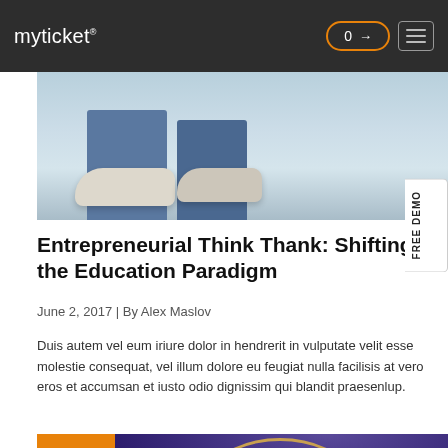myticket®
[Figure (photo): Photo of a person's legs in jeans and sneakers, lying or sitting on a light blue floor]
Entrepreneurial Think Thank: Shifting the Education Paradigm
June 2, 2017 | By Alex Maslov
Duis autem vel eum iriure dolor in hendrerit in vulputate velit esse molestie consequat, vel illum dolore eu feugiat nulla facilisis at vero eros et accumsan et iusto odio dignissim qui blandit praesenlup.
[Figure (photo): Basketball game photo with a hoop visible and players on a court; orange date badge in upper left showing 02 JUNE]